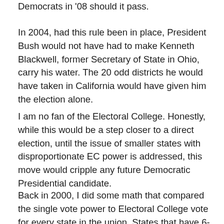Democrats in '08 should it pass.
In 2004, had this rule been in place, President Bush would not have had to make Kenneth Blackwell, former Secretary of State in Ohio, carry his water. The 20 odd districts he would have taken in California would have given him the election alone.
I am no fan of the Electoral College. Honestly, while this would be a step closer to a direct election, until the issue of smaller states with disproportionate EC power is addressed, this move would cripple any future Democratic Presidential candidate.
Back in 2000, I did some math that compared the single vote power to Electoral College vote for every state in the union. States that have 6-10 electoral votes faired pretty well, with just about a 1:1 average. States with